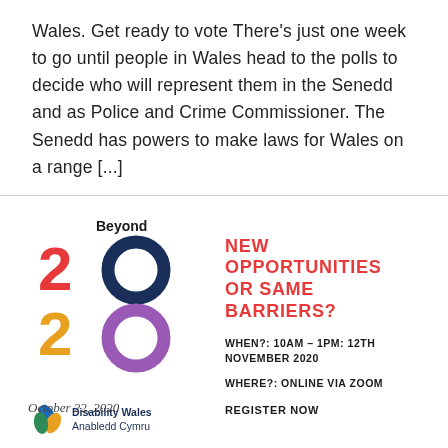Wales. Get ready to vote There's just one week to go until people in Wales head to the polls to decide who will represent them in the Senedd and as Police and Crime Commissioner. The Senedd has powers to make laws for Wales on a range [...]
[Figure (logo): Beyond 2020 logo with coloured numerals (red 2, dark blue O, gold 2, purple O) and Disability Wales / Anabledd Cymru logo with leaf icon]
NEW OPPORTUNITIES OR SAME BARRIERS?
WHEN?: 10AM – 1PM: 12TH NOVEMBER 2020
WHERE?: ONLINE VIA ZOOM
REGISTER NOW
October 22, 2020